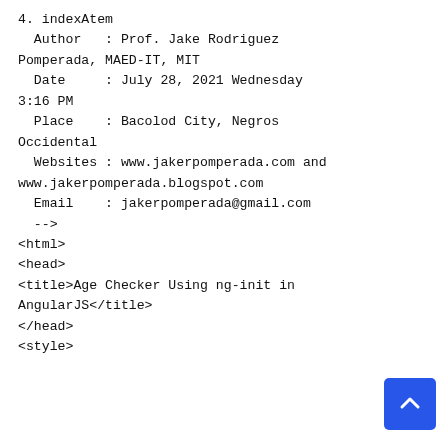4. indexAtem
  Author   : Prof. Jake Rodriguez Pomperada, MAED-IT, MIT
  Date     : July 28, 2021 Wednesday 3:16 PM
  Place    : Bacolod City, Negros Occidental
  Websites : www.jakerpomperada.com and www.jakerpomperada.blogspot.com
  Email    : jakerpomperada@gmail.com
  -->
<html>
<head>
<title>Age Checker Using ng-init in AngularJS</title>
</head>
<style>